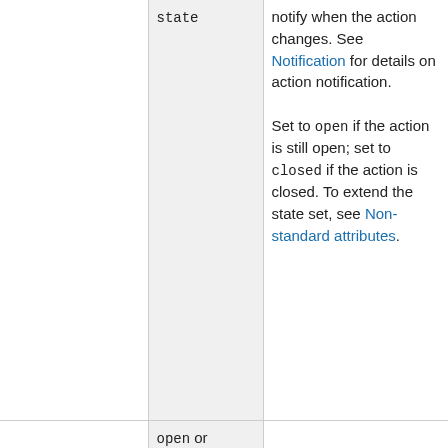|  | Values | Description |
| --- | --- | --- |
|  |  | notify when the action changes. See Notification for details on action notification. |
| state | open or closed | Set to open if the action is still open; set to closed if the action is closed. To extend the state set, see Non-standard attributes. |